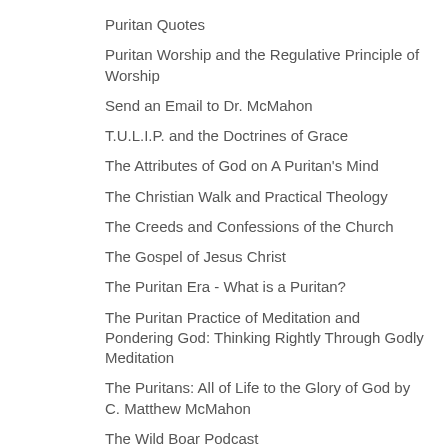Puritan Quotes
Puritan Worship and the Regulative Principle of Worship
Send an Email to Dr. McMahon
T.U.L.I.P. and the Doctrines of Grace
The Attributes of God on A Puritan's Mind
The Christian Walk and Practical Theology
The Creeds and Confessions of the Church
The Gospel of Jesus Christ
The Puritan Era - What is a Puritan?
The Puritan Practice of Meditation and Pondering God: Thinking Rightly Through Godly Meditation
The Puritans: All of Life to the Glory of God by C. Matthew McMahon
The Wild Boar Podcast
Westminster Standards - 1647 Westminster